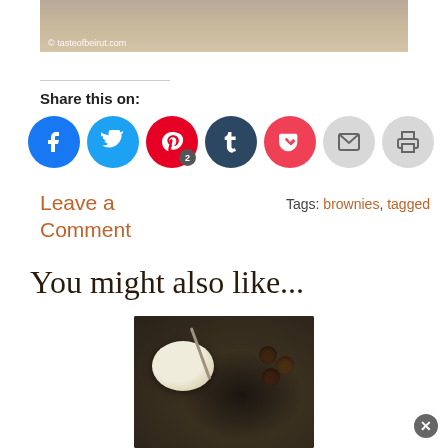[Figure (photo): Top portion of a food blog image showing a wooden surface, partially cropped, with watermark tasteofbeirut.com]
Share this on:
[Figure (infographic): Social sharing buttons: Facebook, Twitter, Pinterest (with badge 2), Tumblr, Pocket, Email, Print]
Leave a Comment
Tags: brownies, tagged
You might also like...
[Figure (photo): Food photo showing a bowl of cream/dip with dark background and chocolates or truffles]